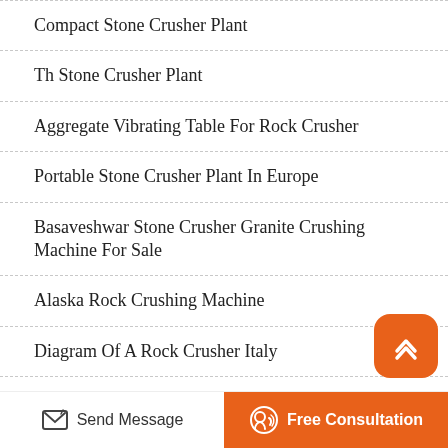Compact Stone Crusher Plant
Th Stone Crusher Plant
Aggregate Vibrating Table For Rock Crusher
Portable Stone Crusher Plant In Europe
Basaveshwar Stone Crusher Granite Crushing Machine For Sale
Alaska Rock Crushing Machine
Diagram Of A Rock Crusher Italy
Power Requirements For A Stone Crusher Plant Scmmining
Send Message | Free Consultation